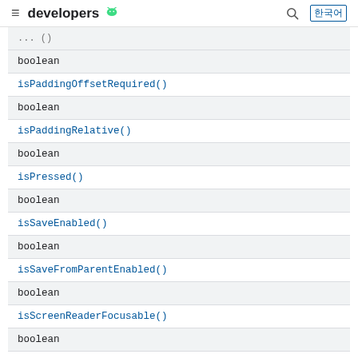developers
| ...() |
| boolean |
| isPaddingOffsetRequired() |
| boolean |
| isPaddingRelative() |
| boolean |
| isPressed() |
| boolean |
| isSaveEnabled() |
| boolean |
| isSaveFromParentEnabled() |
| boolean |
| isScreenReaderFocusable() |
| boolean |